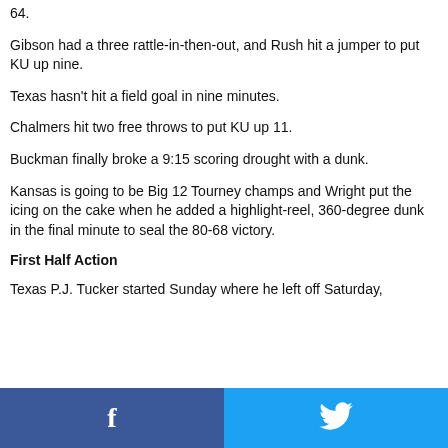64.
Gibson had a three rattle-in-then-out, and Rush hit a jumper to put KU up nine.
Texas hasn't hit a field goal in nine minutes.
Chalmers hit two free throws to put KU up 11.
Buckman finally broke a 9:15 scoring drought with a dunk.
Kansas is going to be Big 12 Tourney champs and Wright put the icing on the cake when he added a highlight-reel, 360-degree dunk in the final minute to seal the 80-68 victory.
First Half Action
Texas P.J. Tucker started Sunday where he left off Saturday,
[Figure (infographic): Social share bar with Facebook (blue, left) and Twitter (light blue, right) buttons]